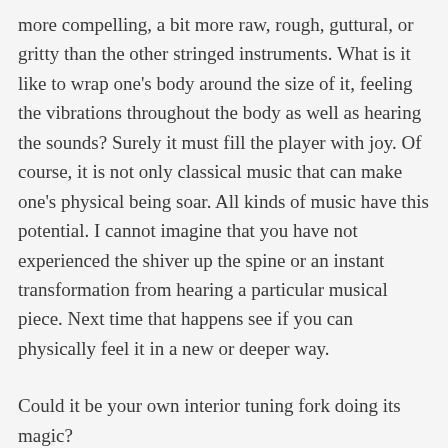more compelling, a bit more raw, rough, guttural, or gritty than the other stringed instruments. What is it like to wrap one's body around the size of it, feeling the vibrations throughout the body as well as hearing the sounds? Surely it must fill the player with joy. Of course, it is not only classical music that can make one's physical being soar. All kinds of music have this potential. I cannot imagine that you have not experienced the shiver up the spine or an instant transformation from hearing a particular musical piece. Next time that happens see if you can physically feel it in a new or deeper way.
Could it be your own interior tuning fork doing its magic?